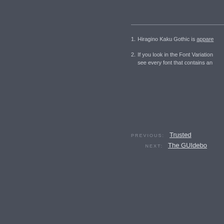1. Hiragino Kaku Gothic is appare…
2. If you look in the Font Variation… see every font that contains an…
PREVIOUS: Trusted
NEXT: The GUIdebo…